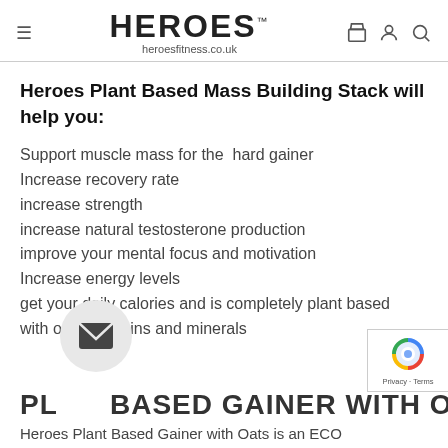HEROES™ heroesfitness.co.uk
Heroes Plant Based Mass Building Stack will help you:
Support muscle mass for the  hard gainer
Increase recovery rate
increase strength
increase natural testosterone production
improve your mental focus and motivation
Increase energy levels
get your daily calories and is completely plant based with oats, vitamins and minerals
PLANT BASED GAINER WITH OATS
Heroes Plant Based Gainer with Oats is an ECO